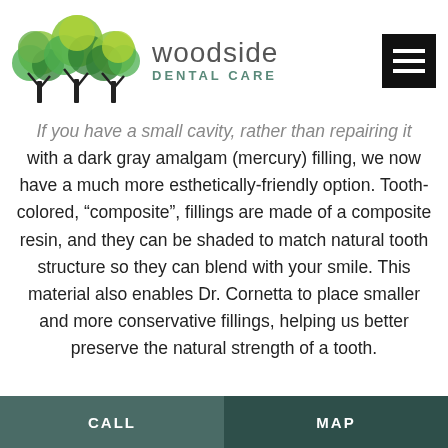[Figure (logo): Woodside Dental Care logo with three green stylized trees and text 'woodside DENTAL CARE' and a black hamburger menu icon]
If you have a small cavity, rather than repairing it with a dark gray amalgam (mercury) filling, we now have a much more esthetically-friendly option. Tooth-colored, “composite”, fillings are made of a composite resin, and they can be shaded to match natural tooth structure so they can blend with your smile. This material also enables Dr. Cornetta to place smaller and more conservative fillings, helping us better preserve the natural strength of a tooth.
CALL   MAP